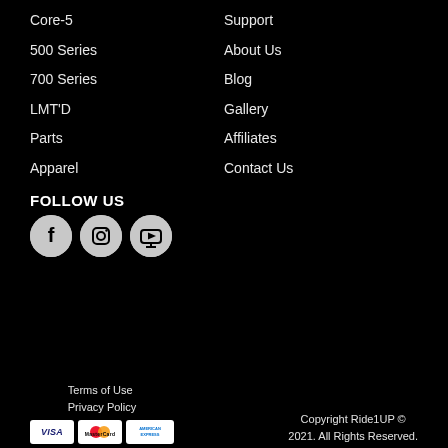Core-5
500 Series
700 Series
LMT'D
Parts
Apparel
Support
About Us
Blog
Gallery
Affiliates
Contact Us
FOLLOW US
[Figure (infographic): Social media icons: Facebook, Instagram, YouTube]
Terms of Use
Privacy Policy
Copyright Ride1UP © 2021. All Rights Reserved.
[Figure (infographic): Payment method icons: VISA, MasterCard, American Express]